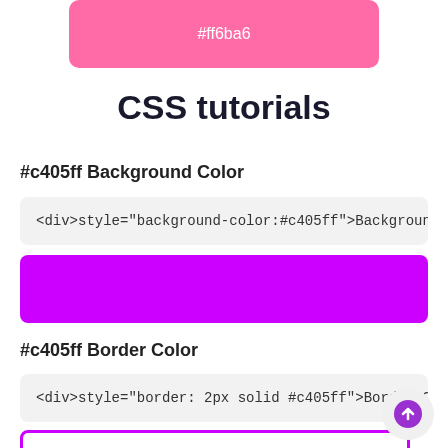[Figure (other): Pink rounded rectangle bar showing hex color #ff6ba6]
CSS tutorials
#c405ff Background Color
<div>style="background-color:#c405ff">Background C
[Figure (other): Solid purple (#cc00ff) filled rectangle box demonstrating background color]
#c405ff Border Color
<div>style="border: 2px solid #c405ff">Border Color</d
[Figure (other): White rectangle with purple (#cc00ff) border demonstrating border color]